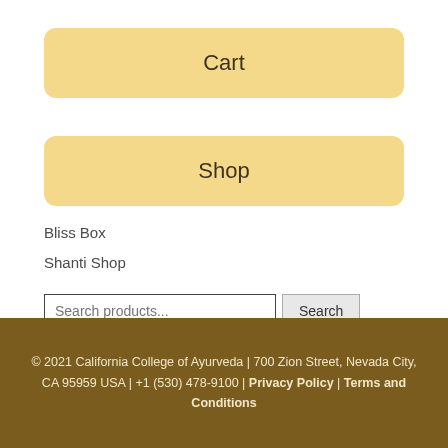Cart
Shop
Bliss Box
Shanti Shop
Search products...
© 2021 California College of Ayurveda | 700 Zion Street, Nevada City, CA 95959 USA | +1 (530) 478-9100 | Privacy Policy | Terms and Conditions